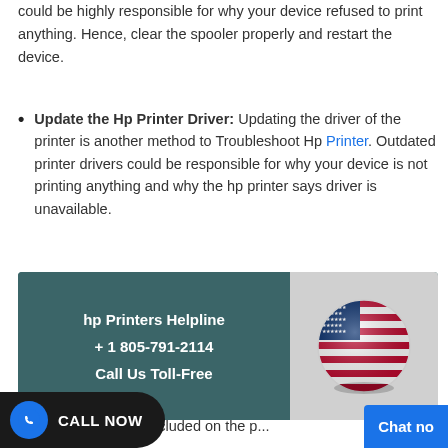could be highly responsible for why your device refused to print anything. Hence, clear the spooler properly and restart the device.
Update the Hp Printer Driver: Updating the driver of the printer is another method to Troubleshoot Hp Printer. Outdated printer drivers could be responsible for why your device is not printing anything and why the hp printer says driver is unavailable.
[Figure (infographic): HP Printers Helpline banner with phone number +1 805-791-2114, Call Us Toll-Free text, and a US flag globe image on the right]
Conclusion
[Figure (infographic): CALL NOW button with WhatsApp icon on lower left]
...oncluded on the p...